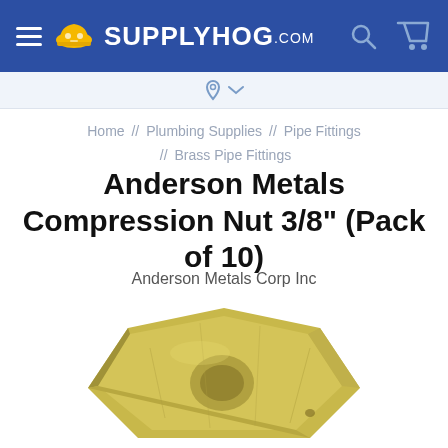SUPPLYHOG.com
Home // Plumbing Supplies // Pipe Fittings // Brass Pipe Fittings
Anderson Metals Compression Nut 3/8" (Pack of 10)
Anderson Metals Corp Inc
[Figure (photo): Close-up photo of a brass hexagonal compression nut, gold/tan colored metal, viewed from a slight angle showing the top and front faces.]